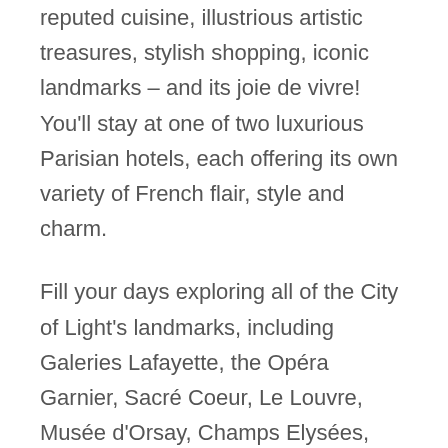...seduce and inspire you, with its reputed cuisine, illustrious artistic treasures, stylish shopping, iconic landmarks – and its joie de vivre! You'll stay at one of two luxurious Parisian hotels, each offering its own variety of French flair, style and charm.
Fill your days exploring all of the City of Light's landmarks, including Galeries Lafayette, the Opéra Garnier, Sacré Coeur, Le Louvre, Musée d'Orsay, Champs Elysées, Folies Bergères, Casino de Paris, Opéra Comique, Mogador and Olympia. The city stays luminous once the sun sets, with captivating shows at the theaters and concert halls, and a buzzing scene at the wine bars and cafes! And you